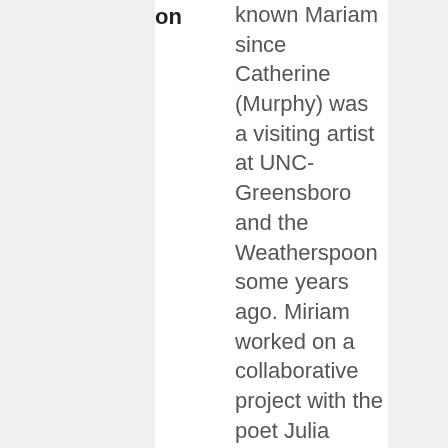on
known Mariam since Catherine (Murphy) was a visiting artist at UNC-Greensboro and the Weatherspoon some years ago. Miriam worked on a collaborative project with the poet Julia Johnson, which resulted in a book published by Photo Book Works in Beacon. Exhibited at Reading Room